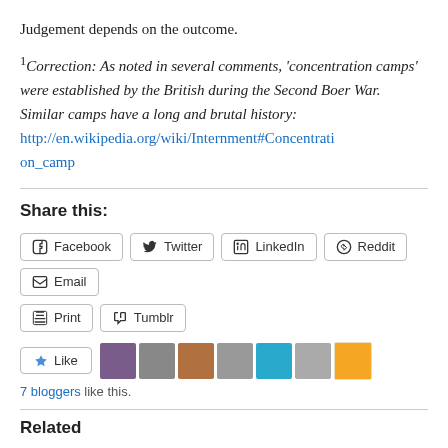Judgement depends on the outcome.
¹Correction: As noted in several comments, 'concentration camps' were established by the British during the Second Boer War. Similar camps have a long and brutal history: http://en.wikipedia.org/wiki/Internment#Concentration_camp
Share this:
Facebook | Twitter | LinkedIn | Reddit | Email | Print | Tumblr
Like | 7 bloggers like this.
Related